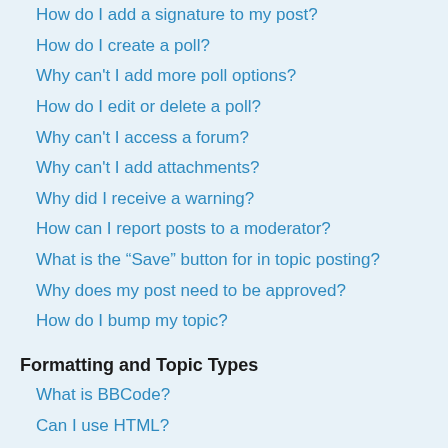How do I add a signature to my post?
How do I create a poll?
Why can't I add more poll options?
How do I edit or delete a poll?
Why can't I access a forum?
Why can't I add attachments?
Why did I receive a warning?
How can I report posts to a moderator?
What is the “Save” button for in topic posting?
Why does my post need to be approved?
How do I bump my topic?
Formatting and Topic Types
What is BBCode?
Can I use HTML?
What are Smilies?
Can I post images?
What are global announcements?
What are announcements?
What are sticky topics?